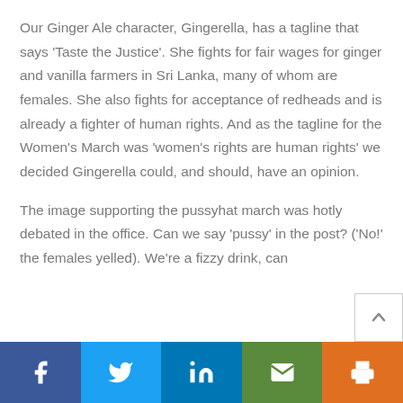Our Ginger Ale character, Gingerella, has a tagline that says 'Taste the Justice'. She fights for fair wages for ginger and vanilla farmers in Sri Lanka, many of whom are females. She also fights for acceptance of redheads and is already a fighter of human rights. And as the tagline for the Women's March was 'women's rights are human rights' we decided Gingerella could, and should, have an opinion.
The image supporting the pussyhat march was hotly debated in the office. Can we say 'pussy' in the post? ('No!' the females yelled). We're a fizzy drink, can
f | twitter | in | email | print